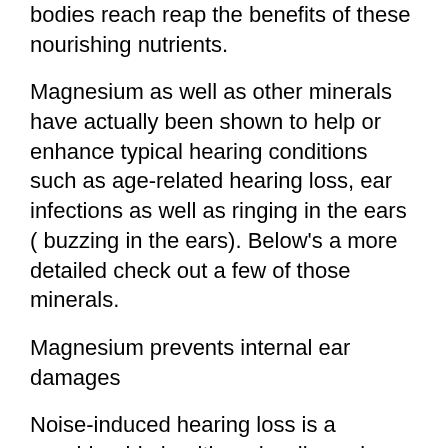bodies reach reap the benefits of these nourishing nutrients.
Magnesium as well as other minerals have actually been shown to help or enhance typical hearing conditions such as age-related hearing loss, ear infections as well as ringing in the ears ( buzzing in the ears). Below's a more detailed check out a few of those minerals.
Magnesium prevents internal ear damages
Noise-induced hearing loss is a considerable health and wellness issue among adults. However, researchers have found magnesium might play an vital duty in safeguarding our ears from the harmful